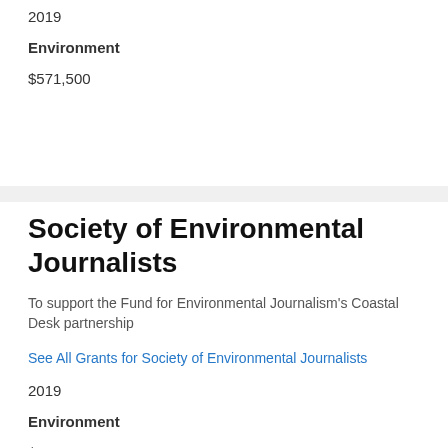2019
Environment
$571,500
Society of Environmental Journalists
To support the Fund for Environmental Journalism's Coastal Desk partnership
See All Grants for Society of Environmental Journalists
2019
Environment
$517,641